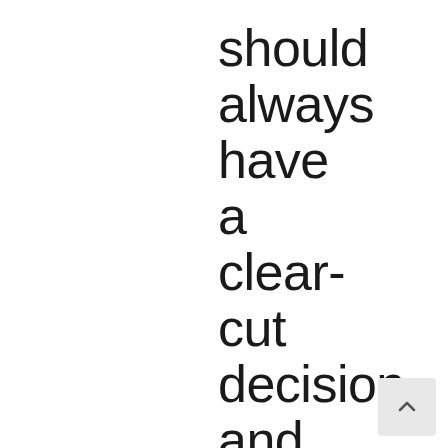should
always
have
a
clear-
cut
decision
and